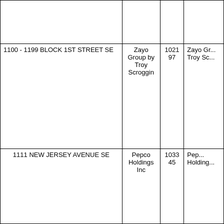|  |  |  |  |
| 1100 - 1199 BLOCK 1ST STREET SE | Zayo Group by Troy Scroggin | 102197 | Zayo Gr... Troy Sc... |
| 1111 NEW JERSEY AVENUE SE | Pepco Holdings Inc | 103345 | Pep... Holding... |